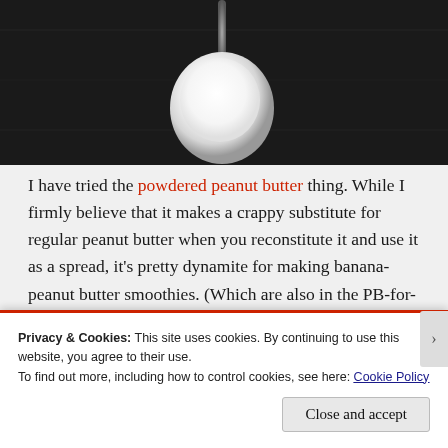[Figure (photo): A measuring spoon filled with white powder (powdered peanut butter) on a dark background, viewed from above.]
I have tried the powdered peanut butter thing. While I firmly believe that it makes a crappy substitute for regular peanut butter when you reconstitute it and use it as a spread, it's pretty dynamite for making banana-peanut butter smoothies. (Which are also in the PB-for-breakfast rotation.)
Privacy & Cookies: This site uses cookies. By continuing to use this website, you agree to their use.
To find out more, including how to control cookies, see here: Cookie Policy
Close and accept